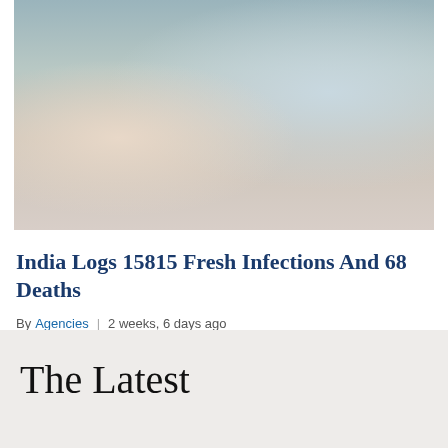[Figure (photo): COVID-19 testing scene: a woman with her mouth open being swabbed by a healthcare worker in blue PPE and mask, with a glass partition and another healthcare worker visible in the reflection.]
India Logs 15815 Fresh Infections And 68 Deaths
By Agencies | 2 weeks, 6 days ago
The Latest